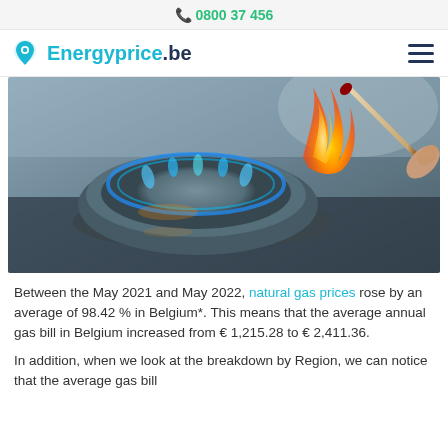📞 0800 37 456
Energyprice.be
[Figure (photo): Close-up photo of a gas stove burner being lit by a matchstick, showing a blue and orange flame against a blurred background.]
Between the May 2021 and May 2022, natural gas prices rose by an average of 98.42 % in Belgium*. This means that the average annual gas bill in Belgium increased from € 1,215.28 to € 2,411.36.
In addition, when we look at the breakdown by Region, we can notice that the average gas bill